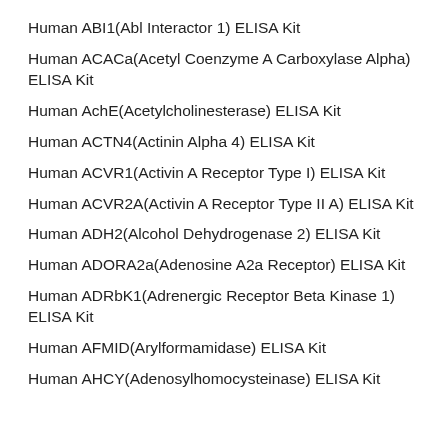Human ABI1(Abl Interactor 1) ELISA Kit
Human ACACa(Acetyl Coenzyme A Carboxylase Alpha) ELISA Kit
Human AchE(Acetylcholinesterase) ELISA Kit
Human ACTN4(Actinin Alpha 4) ELISA Kit
Human ACVR1(Activin A Receptor Type I) ELISA Kit
Human ACVR2A(Activin A Receptor Type II A) ELISA Kit
Human ADH2(Alcohol Dehydrogenase 2) ELISA Kit
Human ADORA2a(Adenosine A2a Receptor) ELISA Kit
Human ADRbK1(Adrenergic Receptor Beta Kinase 1) ELISA Kit
Human AFMID(Arylformamidase) ELISA Kit
Human AHCY(Adenosylhomocysteinase) ELISA Kit